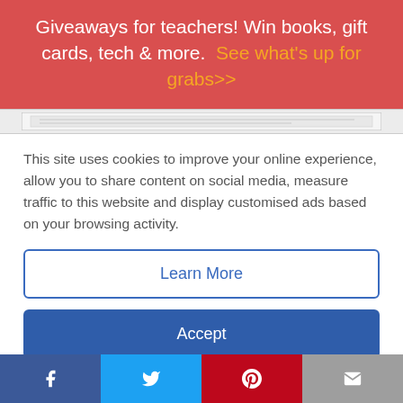Giveaways for teachers! Win books, gift cards, tech & more.  See what's up for grabs>>
[Figure (screenshot): Partial view of an anchor chart or worksheet image strip]
This site uses cookies to improve your online experience, allow you to share content on social media, measure traffic to this website and display customised ads based on your browsing activity.
Learn More
Accept
The best context clues anchor charts are those that teachers can use interactively along with their
f  t  P  ✉